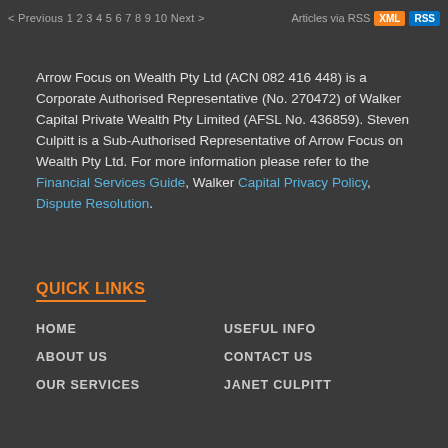< Previous 1 2 3 4 5 6 7 8 9 10 Next > Articles via RSS XML RSS
Arrow Focus on Wealth Pty Ltd (ACN 082 416 448) is a Corporate Authorised Representative (No. 270472) of Walker Capital Private Wealth Pty Limited (AFSL No. 436859). Steven Culpitt is a Sub-Authorised Representative of Arrow Focus on Wealth Pty Ltd. For more information please refer to the Financial Services Guide, Walker Capital Privacy Policy, Dispute Resolution.
QUICK LINKS
HOME
USEFUL INFO
ABOUT US
CONTACT US
OUR SERVICES
JANET CULPITT